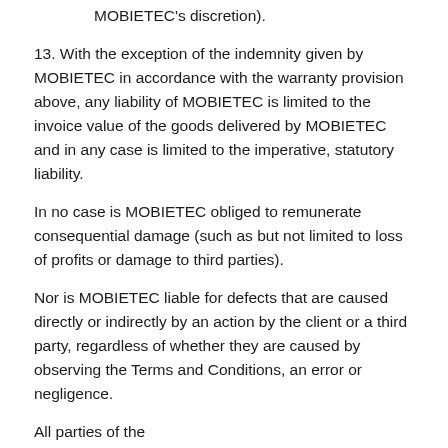MOBIETEC's discretion).
13. With the exception of the indemnity given by MOBIETEC in accordance with the warranty provision above, any liability of MOBIETEC is limited to the invoice value of the goods delivered by MOBIETEC and in any case is limited to the imperative, statutory liability.
In no case is MOBIETEC obliged to remunerate consequential damage (such as but not limited to loss of profits or damage to third parties).
Nor is MOBIETEC liable for defects that are caused directly or indirectly by an action by the client or a third party, regardless of whether they are caused by observing the Terms and Conditions, an error or negligence.
All parties of the...